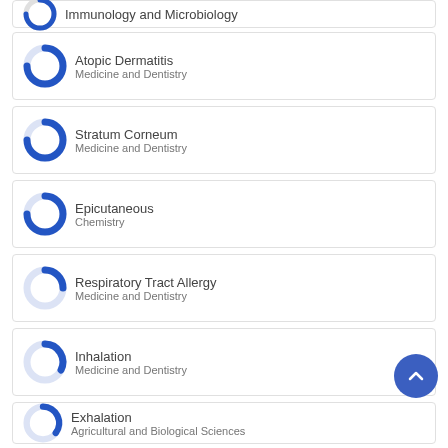Immunology and Microbiology
Atopic Dermatitis | Medicine and Dentistry
Stratum Corneum | Medicine and Dentistry
Epicutaneous | Chemistry
Respiratory Tract Allergy | Medicine and Dentistry
Inhalation | Medicine and Dentistry
Exhalation | Agricultural and Biological Sciences